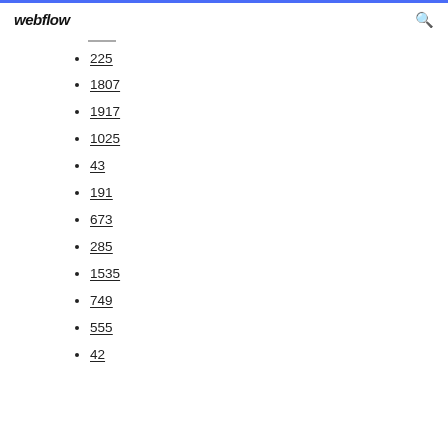webflow
225
1807
1917
1025
43
191
673
285
1535
749
555
42